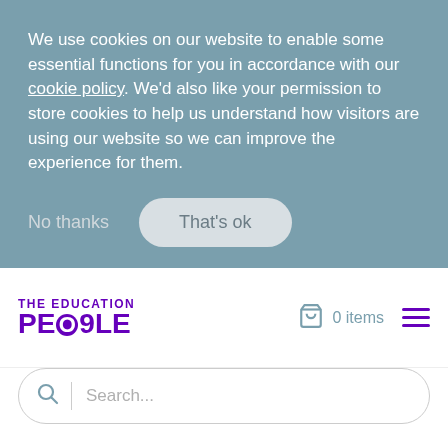We use cookies on our website to enable some essential functions for you in accordance with our cookie policy. We'd also like your permission to store cookies to help us understand how visitors are using our website so we can improve the experience for them.
No thanks
That's ok
[Figure (logo): The Education People logo in purple]
0 items
Search...